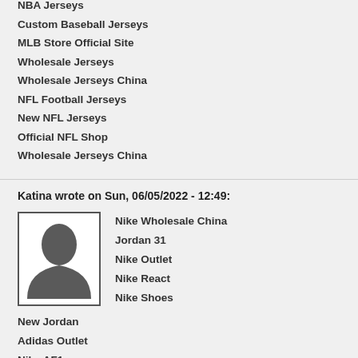NBA Jerseys
Custom Baseball Jerseys
MLB Store Official Site
Wholesale Jerseys
Wholesale Jerseys China
NFL Football Jerseys
New NFL Jerseys
Official NFL Shop
Wholesale Jerseys China
Katina wrote on Sun, 06/05/2022 - 12:49:
[Figure (photo): Silhouette avatar placeholder image of a person's head and shoulders on white background with grey border]
Nike Wholesale China
Jordan 31
Nike Outlet
Nike React
Nike Shoes
New Jordan
Adidas Outlet
Nike AF1
Wholesale Jerseys
Jordan Retros